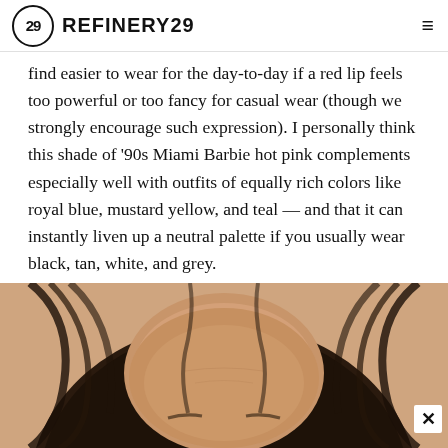REFINERY29
find easier to wear for the day-to-day if a red lip feels too powerful or too fancy for casual wear (though we strongly encourage such expression). I personally think this shade of '90s Miami Barbie hot pink complements especially well with outfits of equally rich colors like royal blue, mustard yellow, and teal — and that it can instantly liven up a neutral palette if you usually wear black, tan, white, and grey.
[Figure (photo): Close-up photo of a person's face with dark brown hair framing the forehead against a warm peach/tan background, showing mostly the forehead and hair area.]